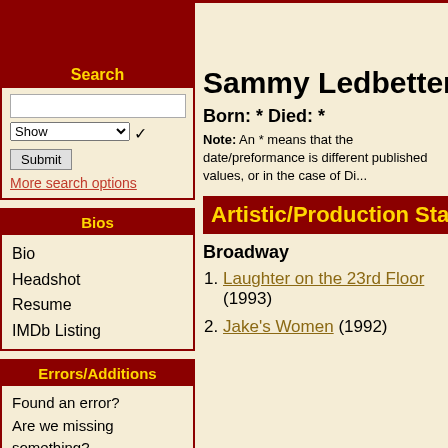Search
More search options
Sammy Ledbetter
Born: * Died: *
Note: An * means that the date/preformance is different published values, or in the case of Di...
Bios
Bio
Headshot
Resume
IMDb Listing
Artistic/Production Staff
Broadway
1. Laughter on the 23rd Floor (1993)
2. Jake's Women (1992)
Errors/Additions
Found an error? Are we missing something?